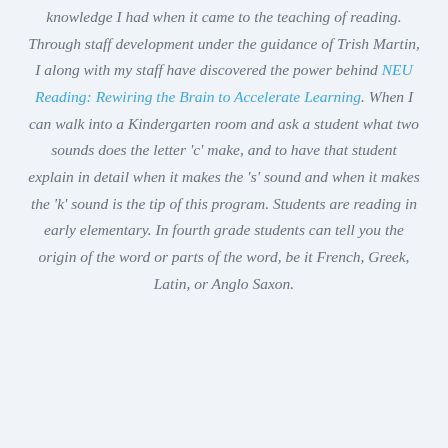knowledge I had when it came to the teaching of reading. Through staff development under the guidance of Trish Martin, I along with my staff have discovered the power behind NEU Reading: Rewiring the Brain to Accelerate Learning. When I can walk into a Kindergarten room and ask a student what two sounds does the letter 'c' make, and to have that student explain in detail when it makes the 's' sound and when it makes the 'k' sound is the tip of this program. Students are reading in early elementary. In fourth grade students can tell you the origin of the word or parts of the word, be it French, Greek, Latin, or Anglo Saxon.